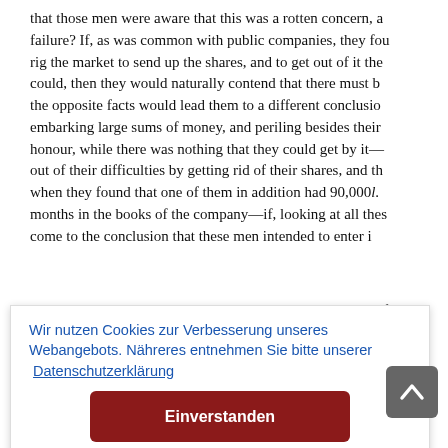that those men were aware that this was a rotten concern, a failure? If, as was common with public companies, they fou rig the market to send up the shares, and to get out of it the could, then they would naturally contend that there must b the opposite facts would lead them to a different conclusion embarking large sums of money, and periling besides their honour, while there was nothing that they could get by it— out of their difficulties by getting rid of their shares, and th when they found that one of them in addition had 90,000l. months in the books of the company—if, looking at all thes come to the conclusion that these men intended to enter i
out to a f low, wha y Gurney- would ob ch was at their nam
Wir nutzen Cookies zur Verbesserung unseres Webangebots. Nähreres entnehmen Sie bitte unserer Datenschutzerklärung
Einverstanden
500,000l., of which they never received a shilling. As he had